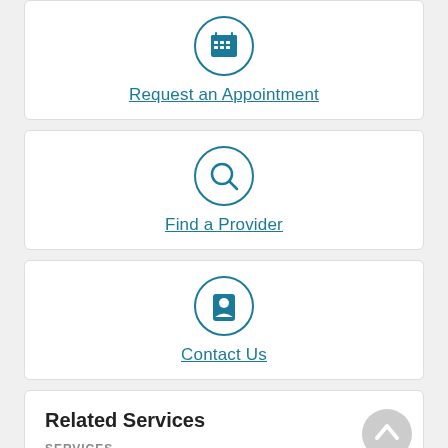[Figure (illustration): Request an Appointment icon: calendar icon inside a teal circle, with link text below]
[Figure (illustration): Find a Provider icon: magnifying glass inside a teal circle, with link text below]
[Figure (illustration): Contact Us icon: person/contact card inside a teal circle, with link text below]
Related Services
SERVICES